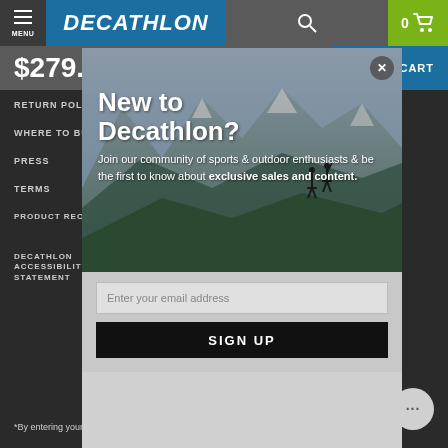MENU | DECATHLON | search | 0 cart
$279.00
ADD TO CART
RETURN POLICY
HELP / CONTACT US
WHERE TO BUY
AMBASSADORS
PRESS
TERMS
PRODUCT RECALLS
AFFILIATE DISCLOSURE
DECATHLON ACCESSIBILITY STATEMENT
[Figure (screenshot): Modal popup with mountain landscape photo background showing two hikers on a ridge. Overlay text reads 'New to Decathlon?' with subtitle 'Join our community of sports & outdoor enthusiasts & be the first to know about exclusive sales and content.' with an email input field and SIGN UP button.]
*By entering your email, you agree to Decathlon's Terms and Privacy Policy
Explore Decathlon in other countries:
© 2023 Decathlon